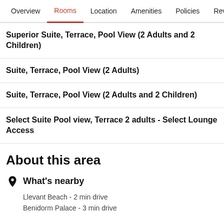Overview  Rooms  Location  Amenities  Policies  Reviews
Superior Suite, Terrace, Pool View (2 Adults and 2 Children)
Suite, Terrace, Pool View (2 Adults)
Suite, Terrace, Pool View (2 Adults and 2 Children)
Select Suite Pool view, Terrace 2 adults - Select Lounge Access
About this area
What's nearby
Llevant Beach - 2 min drive
Benidorm Palace - 3 min drive